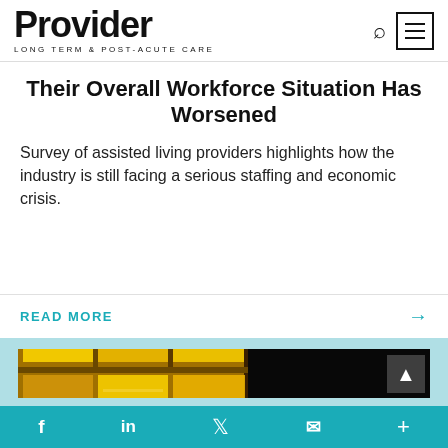Provider LONG TERM & POST-ACUTE CARE
Their Overall Workforce Situation Has Worsened
Survey of assisted living providers highlights how the industry is still facing a serious staffing and economic crisis.
READ MORE
[Figure (photo): Nighttime photo of a building exterior with yellow-lit windows against a dark background]
f  in  Twitter  Email  +